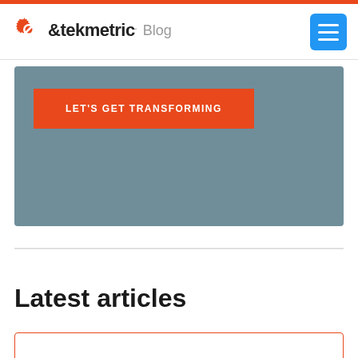tekmetric Blog
[Figure (other): Blue-gray CTA banner with orange button labeled LET'S GET TRANSFORMING]
LET'S GET TRANSFORMING
Latest articles